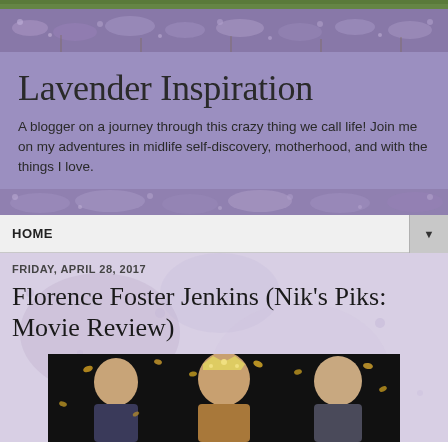[Figure (photo): Header photo strip showing lavender field with green foliage at top]
Lavender Inspiration
A blogger on a journey through this crazy thing we call life! Join me on my adventures in midlife self-discovery, motherhood, and with the things I love.
HOME
FRIDAY, APRIL 28, 2017
Florence Foster Jenkins (Nik's Piks: Movie Review)
[Figure (photo): Movie promotional photo showing three actors on dark background with confetti, from Florence Foster Jenkins film]